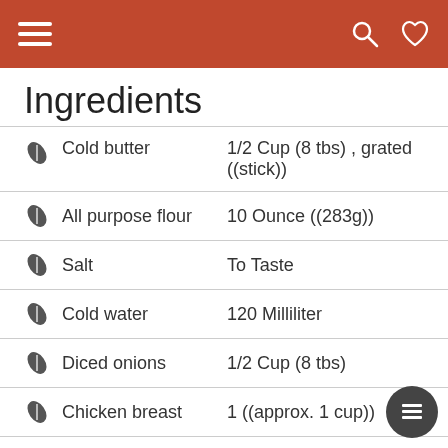Ingredients
Ingredients
Cold butter — 1/2 Cup (8 tbs) , grated ((stick))
All purpose flour — 10 Ounce ((283g))
Salt — To Taste
Cold water — 120 Milliliter
Diced onions — 1/2 Cup (8 tbs)
Chicken breast — 1 ((approx. 1 cup))
Cumin powder — 1 Teaspoon
Smoked paprika — 1 Teaspoon